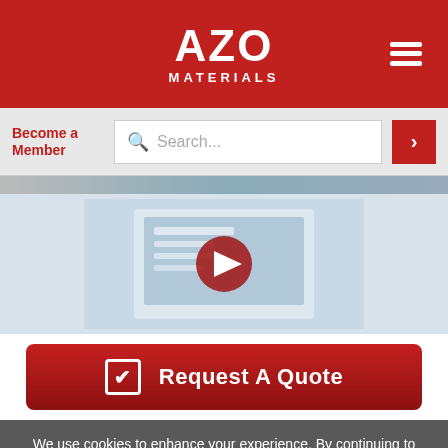[Figure (logo): AZO Materials logo — white text on red background with hamburger menu icon]
Become a Member
[Figure (screenshot): Search bar with magnifying glass icon and placeholder text 'Search...' and red arrow button]
[Figure (photo): Video thumbnail showing a laptop computer with a red play button overlay]
Request A Quote
We use cookies to enhance your experience. By continuing to browse this site you agree to our use of cookies. More info.
Accept
Cookie Settings